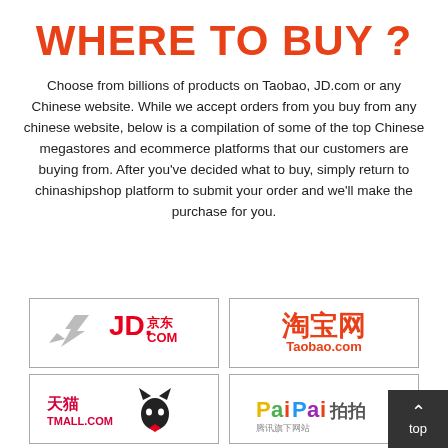WHERE TO BUY ?
Choose from billions of products on Taobao, JD.com or any Chinese website. While we accept orders from you buy from any chinese website, below is a compilation of some of the top Chinese megastores and ecommerce platforms that our customers are buying from. After you've decided what to buy, simply return to chinashipshop platform to submit your order and we'll make the purchase for you.
[Figure (logo): JD.com logo with stylized bird/dog icon, red text 'JD.京东.COM']
[Figure (logo): Taobao logo with Chinese characters 淘宝网 in orange-red and 'Taobao.com' text]
[Figure (logo): Tmall logo with 天猫 tmall.com text and cat mascot icon in red]
[Figure (logo): PaiPai 拍拍 logo with colorful text]